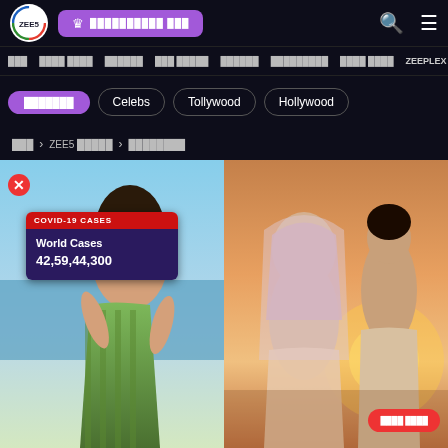[Figure (screenshot): ZEE5 website screenshot showing navigation bar with logo, subscribe button, search and menu icons]
Menu items: [Devanagari text], Celebs, Tollywood, Hollywood, ZEEPLEX
Category tabs: [Devanagari active], Celebs, Tollywood, Hollywood
Breadcrumb: [Home] > ZEE5 [Devanagari] > [Devanagari]
[Figure (photo): Left photo: woman in green printed dress laughing at beach. Overlay: COVID-19 CASES popup showing World Cases 42,59,44,300 with close button]
[Figure (photo): Right photo: couple in ethnic wear at sunset, woman in dupatta and man in kurta]